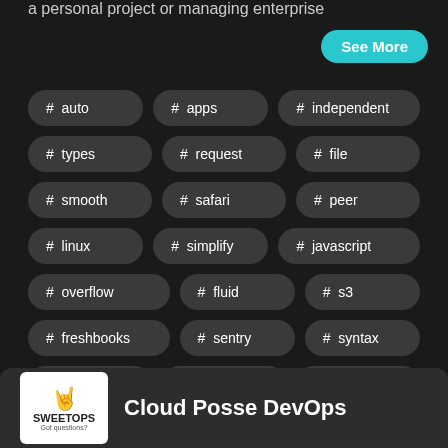a personal project or managing enterprise
# auto
# apps
# independent
# types
# request
# file
# smooth
# safari
# peer
# linux
# simplify
# javascript
# overflow
# fluid
# s3
# freshbooks
# sentry
# syntax
# gradient
# web dev
# linode
Cloud Posse DevOps